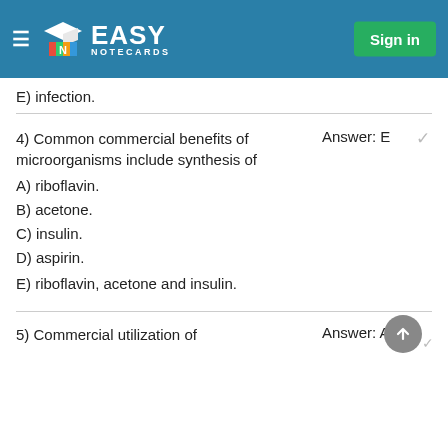EASY NOTECARDS | Sign in
E) infection.
4) Common commercial benefits of microorganisms include synthesis of    Answer: E
A) riboflavin.
B) acetone.
C) insulin.
D) aspirin.
E) riboflavin, acetone and insulin.
5) Commercial utilization of    Answer: A